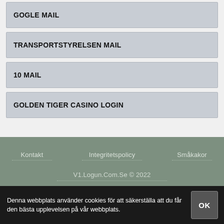GOGLE MAIL
TRANSPORTSTYRELSEN MAIL
10 MAIL
GOLDEN TIGER CASINO LOGIN
Kontakt   Integritetspolicy   Småkakor
V1.Logun.Com.Se © 2022
Denna webbplats använder cookies för att säkerställa att du får den bästa upplevelsen på vår webbplats.